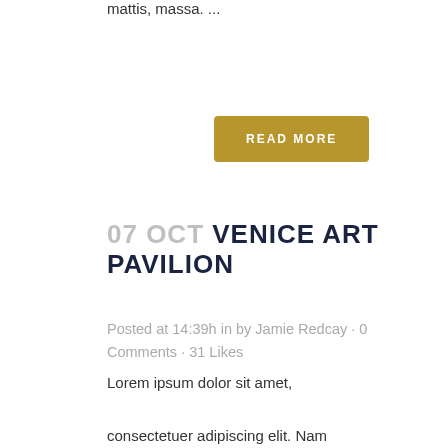mattis, massa. ...
READ MORE
07 OCT VENICE ART PAVILION
Posted at 14:39h in by Jamie Redcay · 0 Comments · 31 Likes
Lorem ipsum dolor sit amet, consectetuer adipiscing elit. Nam cursus. Morbi ut mi. Nullam enim leo, egestas id, condimentum at, laoreet